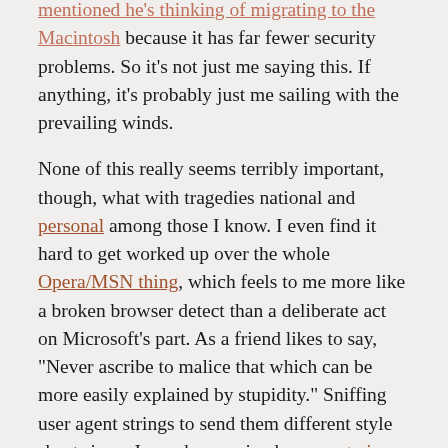mentioned he's thinking of migrating to the Macintosh because it has far fewer security problems. So it's not just me saying this. If anything, it's probably just me sailing with the prevailing winds.
None of this really seems terribly important, though, what with tragedies national and personal among those I know. I even find it hard to get worked up over the whole Opera/MSN thing, which feels to me more like a broken browser detect than a deliberate act on Microsoft's part. As a friend likes to say, "Never ascribe to malice that which can be more easily explained by stupidity." Sniffing user agent strings to send them different style sheets is, as I may have opined once or twice before, pretty stupid.
I finally managed to pick out frames for my glasses and started wearing them today. All I can say is that I don't understand how anyone thought this was a good idea. My vision is much sharper in the center, and then gets rapidly distorted towards the frame... and then, beyond the frame, the world looks like it